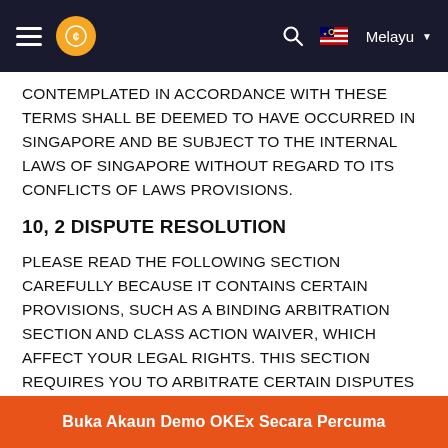OKEx — Melayu
CONTEMPLATED IN ACCORDANCE WITH THESE TERMS SHALL BE DEEMED TO HAVE OCCURRED IN SINGAPORE AND BE SUBJECT TO THE INTERNAL LAWS OF SINGAPORE WITHOUT REGARD TO ITS CONFLICTS OF LAWS PROVISIONS.
10, 2 DISPUTE RESOLUTION
PLEASE READ THE FOLLOWING SECTION CAREFULLY BECAUSE IT CONTAINS CERTAIN PROVISIONS, SUCH AS A BINDING ARBITRATION SECTION AND CLASS ACTION WAIVER, WHICH AFFECT YOUR LEGAL RIGHTS. THIS SECTION REQUIRES YOU TO ARBITRATE CERTAIN DISPUTES AND CLAIMS WITH THE SELLER AND LIMITS THE MANNER IN WHICH YOU CAN SEEK RELIEF FROM
Buka Akaun Demo OKEx Secara Percuma